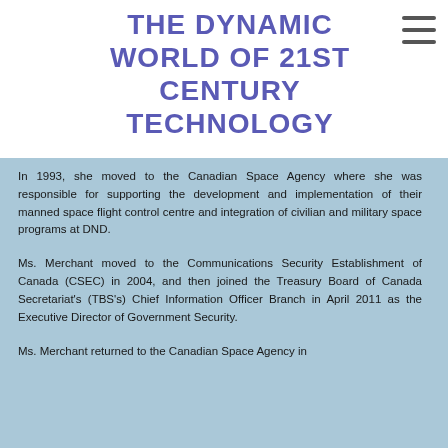THE DYNAMIC WORLD OF 21ST CENTURY TECHNOLOGY
In 1993, she moved to the Canadian Space Agency where she was responsible for supporting the development and implementation of their manned space flight control centre and integration of civilian and military space programs at DND.
Ms. Merchant moved to the Communications Security Establishment of Canada (CSEC) in 2004, and then joined the Treasury Board of Canada Secretariat's (TBS's) Chief Information Officer Branch in April 2011 as the Executive Director of Government Security.
Ms. Merchant returned to the Canadian Space Agency in